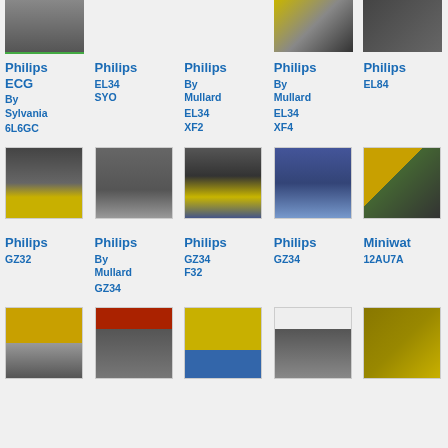[Figure (photo): Partial view of vacuum tube with green component at top]
[Figure (photo): Vacuum tubes in yellow box]
[Figure (photo): Multiple dark vacuum tubes]
Philips ECG By Sylvania 6L6GC
Philips EL34 SYO
Philips By Mullard EL34 XF2
Philips By Mullard EL34 XF4
Philips EL84
[Figure (photo): Single vacuum tube 6L6GC in box]
[Figure (photo): Row of EL34 SYO tubes]
[Figure (photo): EL34 XF2 tubes with yellow bases]
[Figure (photo): EL34 XF4 tubes in blue packaging]
[Figure (photo): EL84 tubes in box]
Philips GZ32
Philips By Mullard GZ34
Philips GZ34 F32
Philips GZ34
Miniwa 12AU7A
[Figure (photo): GZ32 tube in yellow box]
[Figure (photo): GZ34 tubes by Mullard]
[Figure (photo): GZ34 F32 tubes in yellow boxes]
[Figure (photo): GZ34 single tube]
[Figure (photo): Miniwave 12AU7A tubes in gold packaging]